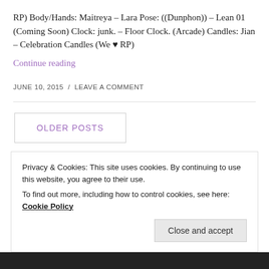RP) Body/Hands: Maitreya – Lara Pose: ((Dunphon)) – Lean 01 (Coming Soon) Clock: junk. – Floor Clock. (Arcade) Candles: Jian – Celebration Candles (We ♥ RP)
Continue reading
JUNE 10, 2015  /  LEAVE A COMMENT
OLDER POSTS
•••
Privacy & Cookies: This site uses cookies. By continuing to use this website, you agree to their use.
To find out more, including how to control cookies, see here: Cookie Policy
Close and accept